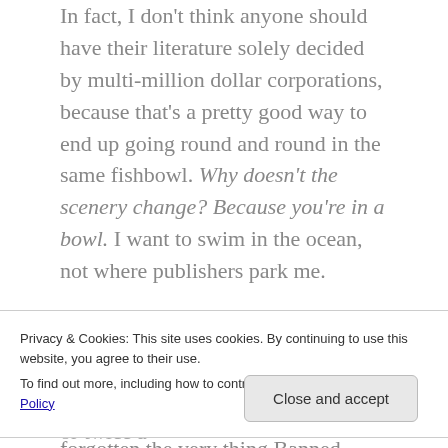In fact, I don't think anyone should have their literature solely decided by multi-million dollar corporations, because that's a pretty good way to end up going round and round in the same fishbowl. Why doesn't the scenery change? Because you're in a bowl. I want to swim in the ocean, not where publishers park me.
Those companies bring us plenty of books every year, and many of them might be good, but I've stopped reading them because they've forgotten the very thing Banned Books Week is supposed to
Privacy & Cookies: This site uses cookies. By continuing to use this website, you agree to their use.
To find out more, including how to control cookies, see here: Cookie Policy
Close and accept
their market is people who read once or twice a